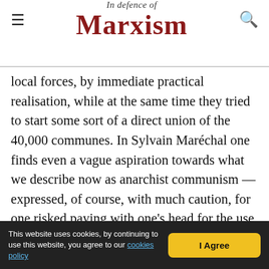In Defence of Marxism
local forces, by immediate practical realisation, while at the same time they tried to start some sort of a direct union of the 40,000 communes. In Sylvain Maréchal one finds even a vague aspiration towards what we describe now as anarchist communism — expressed, of course, with much caution, for one risked paying with one's head for the use of too frank language.
The idea of reaching communism by means of a conspiracy through a secret society which should grasp the reins of government — the idea of which Babeuf became the apostle — was formulated later
This website uses cookies, by continuing to use this website, you agree to our cookies policy